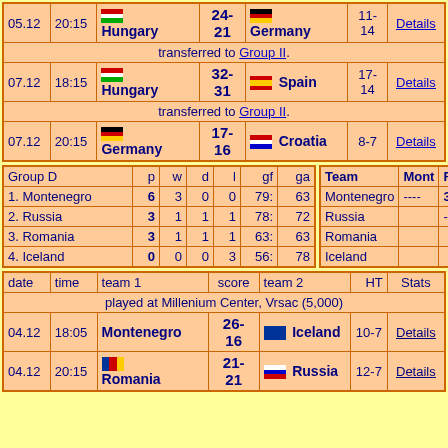| date | time | team 1 | score | team 2 | HT | Stats |
| --- | --- | --- | --- | --- | --- | --- |
| 05.12 | 20:15 | Hungary | 24-21 | Germany | 11-14 | Details |
| transferred to Group II. |
| 07.12 | 18:15 | Hungary | 32-31 | Spain | 17-14 | Details |
| transferred to Group II. |
| 07.12 | 20:15 | Germany | 17-16 | Croatia | 8-7 | Details |
| Group D | p | w | d | l | gf | ga |
| --- | --- | --- | --- | --- | --- | --- |
| 1. Montenegro | 6 | 3 | 0 | 0 | 79: | 63 |
| 2. Russia | 3 | 1 | 1 | 1 | 78: | 72 |
| 3. Romania | 3 | 1 | 1 | 1 | 63: | 63 |
| 4. Iceland | 0 | 0 | 0 | 3 | 56: | 78 |
| Team | Mont | Russ |
| --- | --- | --- |
| Montenegro | ---- | 30:27 |
| Russia |  | ---- |
| Romania |  |  |
| Iceland |  |  |
| date | time | team 1 | score | team 2 | HT | Stats |
| --- | --- | --- | --- | --- | --- | --- |
| played at Millenium Center, Vrsac (5,000) |
| 04.12 | 18:05 | Montenegro | 26-16 | Iceland | 10-7 | Details |
| 04.12 | 20:15 | Romania | 21-21 | Russia | 12-7 | Details |